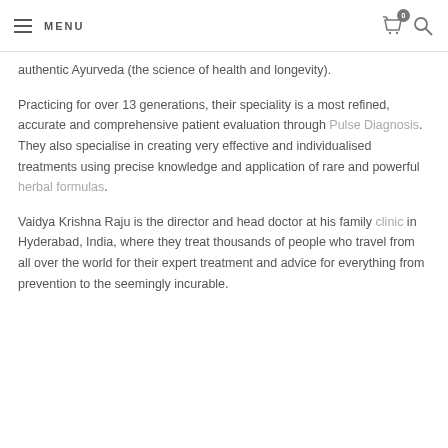MENU
authentic Ayurveda (the science of health and longevity).
Practicing for over 13 generations, their speciality is a most refined, accurate and comprehensive patient evaluation through Pulse Diagnosis. They also specialise in creating very effective and individualised treatments using precise knowledge and application of rare and powerful herbal formulas.
Vaidya Krishna Raju is the director and head doctor at his family clinic in Hyderabad, India, where they treat thousands of people who travel from all over the world for their expert treatment and advice for everything from prevention to the seemingly incurable.